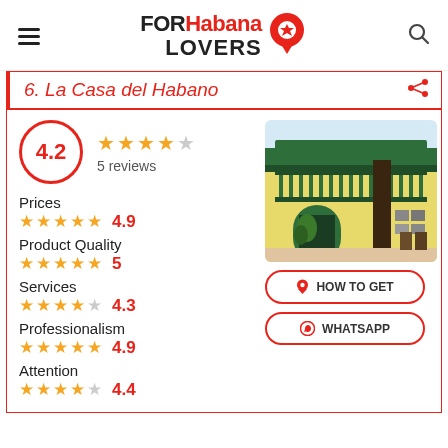FOR Habana LOVERS
6. La Casa del Habano
4.2 — 5 reviews
Prices 4.9
Product Quality 5
Services 4.3
Professionalism 4.9
Attention 4.4
[Figure (photo): Interior courtyard of La Casa del Habano showing green wooden balcony railings and yellow walls]
HOW TO GET
WHATSAPP